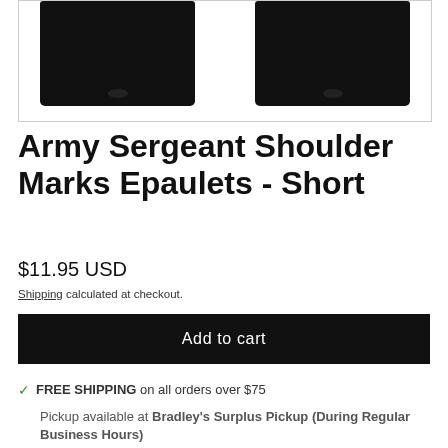[Figure (photo): Two black Army Sergeant shoulder marks epaulets shown side by side on white background]
Army Sergeant Shoulder Marks Epaulets - Short
$11.95 USD
Shipping calculated at checkout.
Add to cart
FREE SHIPPING on all orders over $75
Pickup available at Bradley's Surplus Pickup (During Regular Business Hours)